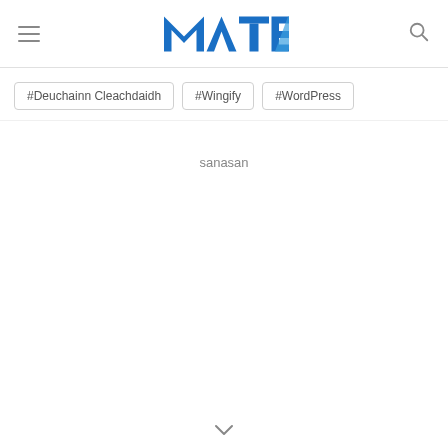MTE logo with hamburger menu and search icon
#Deuchainn Cleachdaidh
#Wingify
#WordPress
sanasan